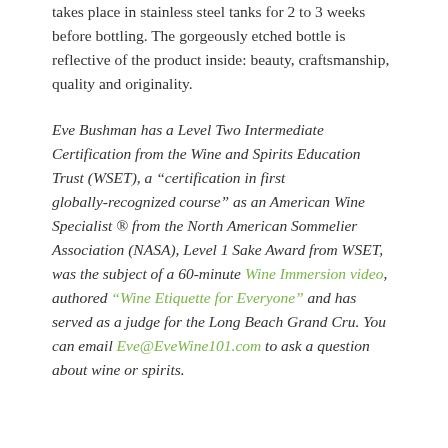takes place in stainless steel tanks for 2 to 3 weeks before bottling. The gorgeously etched bottle is reflective of the product inside: beauty, craftsmanship, quality and originality.
Eve Bushman has a Level Two Intermediate Certification from the Wine and Spirits Education Trust (WSET), a "certification in first globally-recognized course" as an American Wine Specialist ® from the North American Sommelier Association (NASA), Level 1 Sake Award from WSET, was the subject of a 60-minute Wine Immersion video, authored "Wine Etiquette for Everyone" and has served as a judge for the Long Beach Grand Cru. You can email Eve@EveWine101.com to ask a question about wine or spirits.